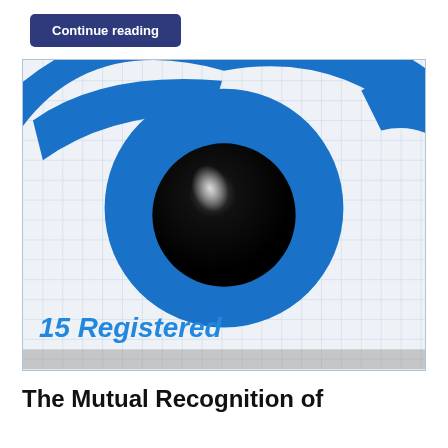Continue reading
[Figure (illustration): Stylized blue eye graphic on a graph-paper background with a circular iris in blue and a black pupil with a white glint highlight. Bold blue italic text '15 Registered' appears in the bottom-left corner of the image.]
The Mutual Recognition of